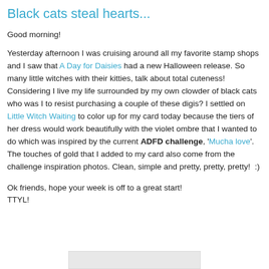Black cats steal hearts...
Good morning!
Yesterday afternoon I was cruising around all my favorite stamp shops and I saw that A Day for Daisies had a new Halloween release. So many little witches with their kitties, talk about total cuteness! Considering I live my life surrounded by my own clowder of black cats who was I to resist purchasing a couple of these digis? I settled on Little Witch Waiting to color up for my card today because the tiers of her dress would work beautifully with the violet ombre that I wanted to do which was inspired by the current ADFD challenge, 'Mucha love'. The touches of gold that I added to my card also come from the challenge inspiration photos. Clean, simple and pretty, pretty, pretty!  :)
Ok friends, hope your week is off to a great start!
TTYL!
[Figure (other): Partial image visible at bottom of page, gray rectangle placeholder]